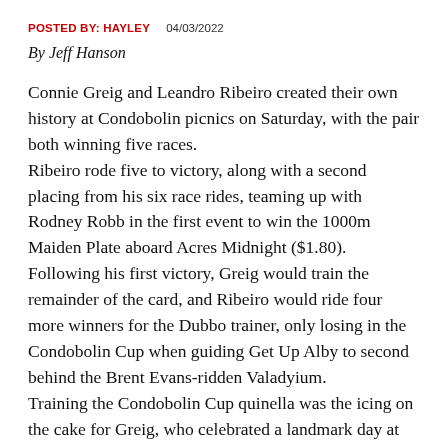POSTED BY: HAYLEY   04/03/2022
By Jeff Hanson
Connie Greig and Leandro Ribeiro created their own history at Condobolin picnics on Saturday, with the pair both winning five races. Ribeiro rode five to victory, along with a second placing from his six race rides, teaming up with Rodney Robb in the first event to win the 1000m Maiden Plate aboard Acres Midnight ($1.80). Following his first victory, Greig would train the remainder of the card, and Ribeiro would ride four more winners for the Dubbo trainer, only losing in the Condobolin Cup when guiding Get Up Alby to second behind the Brent Evans-ridden Valadyium. Training the Condobolin Cup quinella was the icing on the cake for Greig, who celebrated a landmark day at Condobolin, entering six runners and training five winners and a second, while two